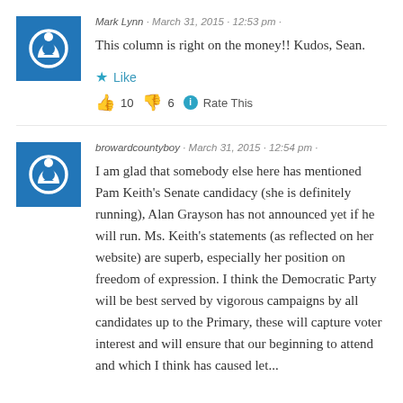Mark Lynn · March 31, 2015 · 12:53 pm ·
This column is right on the money!! Kudos, Sean.
★ Like
👍 10  👎 6  ℹ Rate This
browardcountyboy · March 31, 2015 · 12:54 pm ·
I am glad that somebody else here has mentioned Pam Keith's Senate candidacy (she is definitely running), Alan Grayson has not announced yet if he will run. Ms. Keith's statements (as reflected on her website) are superb, especially her position on freedom of expression. I think the Democratic Party will be best served by vigorous campaigns by all candidates up to the Primary, these will capture voter interest and will ensure that our beginning to attend and which I think has caused let...